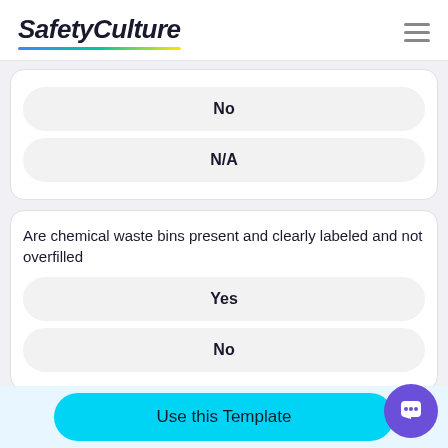SafetyCulture
No
N/A
Are chemical waste bins present and clearly labeled and not overfilled
Yes
No
Use this Template